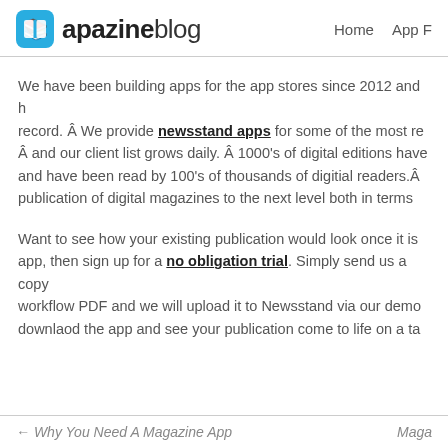apazine blog  Home  App F
We have been building apps for the app stores since 2012 and have a proven record. Â We provide newsstand apps for some of the most re… Â and our client list grows daily. Â  1000's of digital editions have… and have been read by 100's of thousands of digitial readers.Â… publication of digital magazines to the next level both in terms…
Want to see how your existing publication would look once it is… app, then sign up for a no obligation trial. Simply send us a copy… workflow PDF and we will upload it to Newsstand via our demo… downlaod the app and see your publication come to life on a ta…
← Why You Need A Magazine App   Maga…